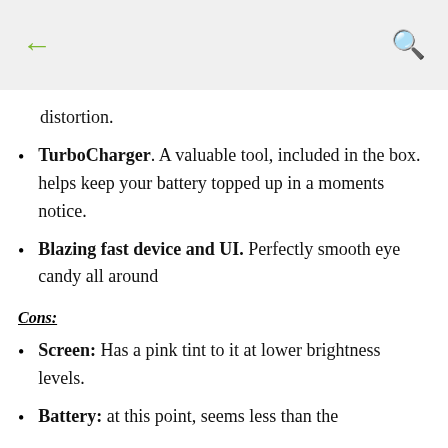← [back] [search]
distortion.
TurboCharger. A valuable tool, included in the box. helps keep your battery topped up in a moments notice.
Blazing fast device and UI. Perfectly smooth eye candy all around
Cons:
Screen: Has a pink tint to it at lower brightness levels.
Battery: at this point, seems less than the